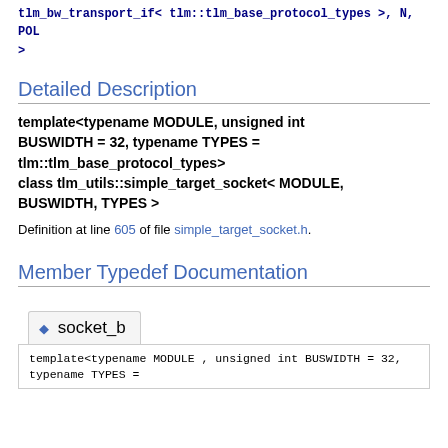tlm_bw_transport_if< tlm::tlm_base_protocol_types >, N, POL >
Detailed Description
template<typename MODULE, unsigned int BUSWIDTH = 32, typename TYPES = tlm::tlm_base_protocol_types>
class tlm_utils::simple_target_socket< MODULE, BUSWIDTH, TYPES >
Definition at line 605 of file simple_target_socket.h.
Member Typedef Documentation
socket_b
template<typename MODULE , unsigned int BUSWIDTH = 32, typename TYPES =